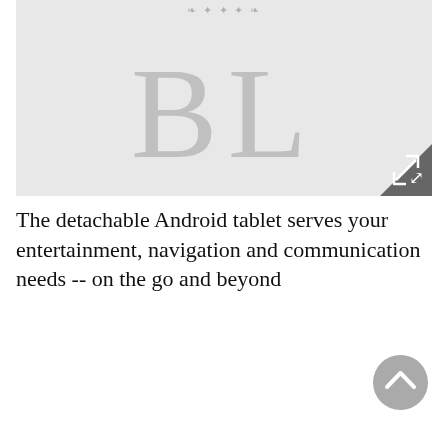[Figure (logo): A light gray image placeholder showing large letters BL in serif font with a decorative ornament above, and an expand/fullscreen icon in the bottom-right corner.]
The detachable Android tablet serves your entertainment, navigation and communication needs -- on the go and beyond